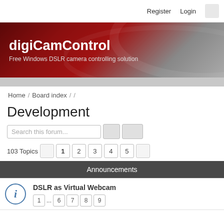Register   Login
[Figure (screenshot): digiCamControl website banner with dark red and grey gradient background. Title: digiCamControl. Subtitle: Free Windows DSLR camera controlling solution]
Home / Board index / /
Development
Search this forum...
103 Topics   1 2 3 4 5
Announcements
DSLR as Virtual Webcam
1 ... 6 7 8 9